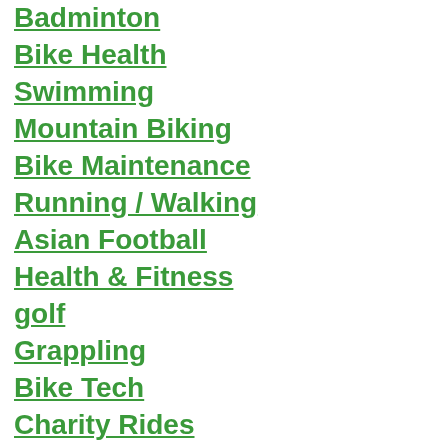Badminton
Bike Health
Swimming
Mountain Biking
Bike Maintenance
Running / Walking
Asian Football
Health & Fitness
golf
Grappling
Bike Tech
Charity Rides
Cyclocross
Ride Touring
Dream FC
Boxing
Bike Movies
China Network Area
Table Tennis
car